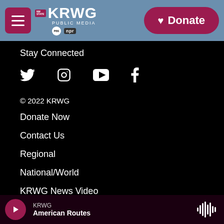KRWG PUBLIC MEDIA | PBS | NPR | Donate
Stay Connected
[Figure (infographic): Social media icons: Twitter (bird), Instagram (camera), YouTube (play button), Facebook (f)]
© 2022 KRWG
Donate Now
Contact Us
Regional
National/World
KRWG News Video
KRWG | American Routes